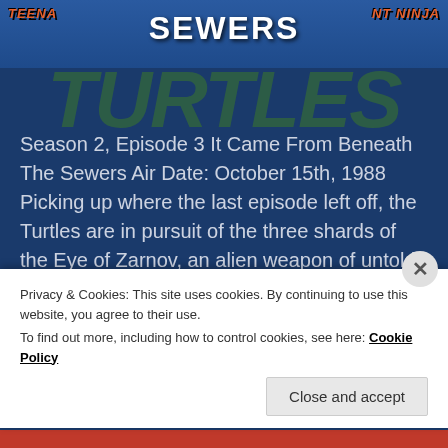[Figure (screenshot): Teenage Mutant Ninja Turtles logo banner at top of page with orange/red TMNT text on sides and blue background]
SEWERS
Season 2, Episode 3 It Came From Beneath The Sewers Air Date: October 15th, 1988  Picking up where the last episode left off, the Turtles are in pursuit of the three shards of the Eye of Zarnov, an alien weapon of untold power. Still salty from losing one shard to the Shredder, who conveniently [...]
Read More
Privacy & Cookies: This site uses cookies. By continuing to use this website, you agree to their use.
To find out more, including how to control cookies, see here: Cookie Policy
Close and accept